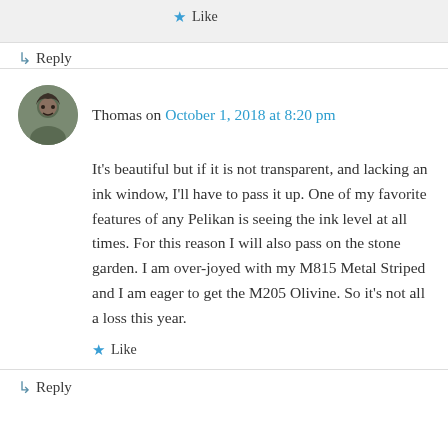★ Like
↳ Reply
Thomas on October 1, 2018 at 8:20 pm
It's beautiful but if it is not transparent, and lacking an ink window, I'll have to pass it up. One of my favorite features of any Pelikan is seeing the ink level at all times. For this reason I will also pass on the stone garden. I am over-joyed with my M815 Metal Striped and I am eager to get the M205 Olivine. So it's not all a loss this year.
★ Like
↳ Reply